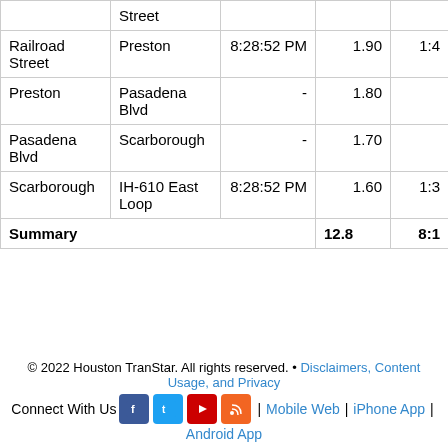| From | To | Departure | Miles | Time |
| --- | --- | --- | --- | --- |
| Street |  |  |  |  |
| Railroad Street | Preston | 8:28:52 PM | 1.90 | 1:4 |
| Preston | Pasadena Blvd | - | 1.80 |  |
| Pasadena Blvd | Scarborough | - | 1.70 |  |
| Scarborough | IH-610 East Loop | 8:28:52 PM | 1.60 | 1:3 |
| Summary |  |  | 12.8 | 8:1 |
© 2022 Houston TranStar. All rights reserved. • Disclaimers, Content Usage, and Privacy
Connect With Us | Mobile Web | iPhone App | Android App